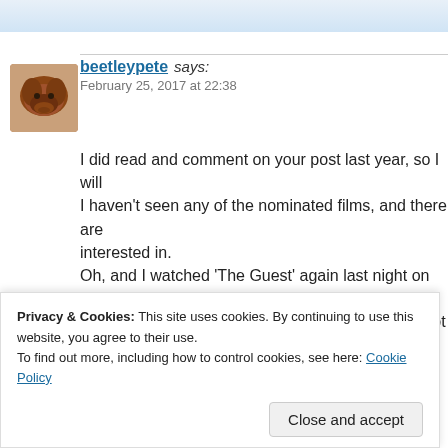beetleypete says:
February 25, 2017 at 22:38
I did read and comment on your post last year, so I will... I haven't seen any of the nominated films, and there are... interested in.
Oh, and I watched ‘The Guest’ again last night on TV, ...
(I’m old, and live in Beetley, so Friday nights are not w...
Take care, honey.
As ever, Pete. XXX
Reply
Privacy & Cookies: This site uses cookies. By continuing to use this website, you agree to their use.
To find out more, including how to control cookies, see here: Cookie Policy
Close and accept